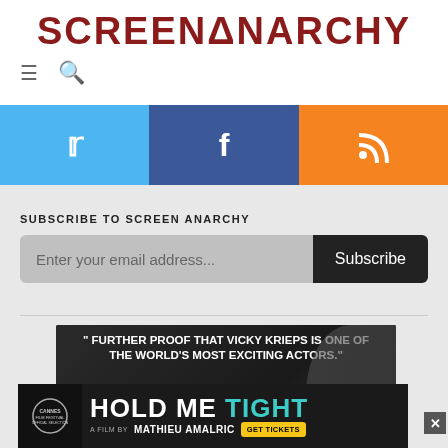SCREENANARCHY
[Figure (screenshot): Navigation icons: hamburger menu and search icon]
[Figure (infographic): Social media share buttons: Twitter (blue), Facebook (dark blue), RSS (orange)]
SUBSCRIBE TO SCREEN ANARCHY
[Figure (screenshot): Email subscription form with text input 'Enter your email address...' and Subscribe button]
[Figure (screenshot): Movie advertisement: 'Further proof that Vicky Krieps is one of the world's most exciting actors.' - Adam Solomons, Little White Lies. Starring Vicky Krieps and Ariem Worthalter.]
[Figure (screenshot): Banner ad for 'Hold Me Tight' a film by Mathieu Amalric, Cannes Film Festival Official Selection. Get Tickets button. Close X button.]